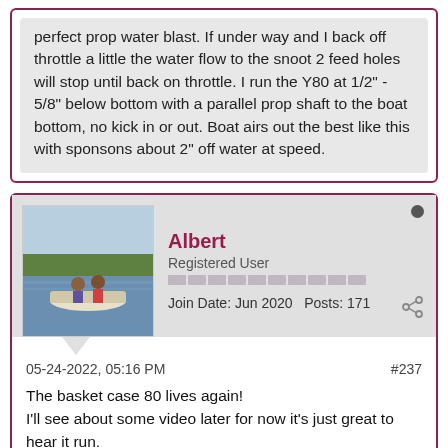perfect prop water blast. If under way and I back off throttle a little the water flow to the snoot 2 feed holes will stop until back on throttle. I run the Y80 at 1/2" - 5/8" below bottom with a parallel prop shaft to the boat bottom, no kick in or out. Boat airs out the best like this with sponsons about 2" off water at speed.
Albert
Registered User
Join Date: Jun 2020   Posts: 171
05-24-2022, 05:16 PM
#237
The basket case 80 lives again!
I'll see about some video later for now it's just great to hear it run.
Time to start work on the new one.

Pete,
You were on in your description, when fed from the brass plug the motor fills to the point where it flows out of the